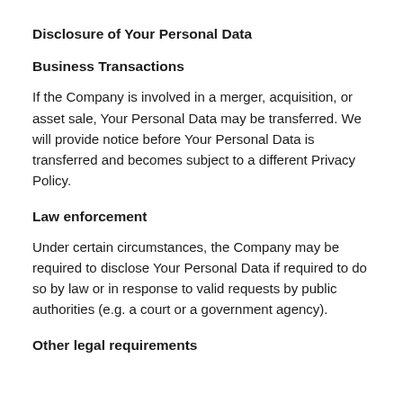Disclosure of Your Personal Data
Business Transactions
If the Company is involved in a merger, acquisition, or asset sale, Your Personal Data may be transferred. We will provide notice before Your Personal Data is transferred and becomes subject to a different Privacy Policy.
Law enforcement
Under certain circumstances, the Company may be required to disclose Your Personal Data if required to do so by law or in response to valid requests by public authorities (e.g. a court or a government agency).
Other legal requirements